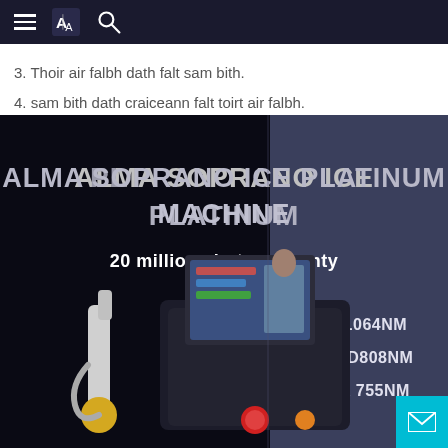navigation header with hamburger menu, translate icon, and search icon
3. Thoir air falbh dath falt sam bith.
4. sam bith dath craiceann falt toirt air falbh.
[Figure (photo): Alma Soprano Ice Platinum Machine product photo. Dark background split into black (left) and dark blue-grey (right). Text overlay reads 'ALMA SOPRANO ICE PLATINUM MACHINE' and '20 million shots warranty'. Right side lists YAG1064NM, SPEED808NM, ALEX 755NM. Machine shown is a laser hair removal device with handpiece and touchscreen display.]